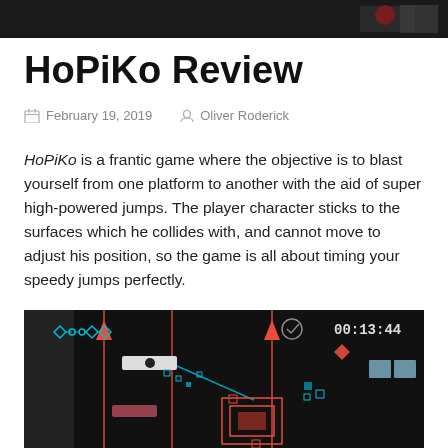[Figure (screenshot): Dark game screenshot banner at top of page]
HoPiKo Review
February 19, 2019   Oliver Roderick
HoPiKo is a frantic game where the objective is to blast yourself from one platform to another with the aid of super high-powered jumps. The player character sticks to the surfaces which he collides with, and cannot move to adjust his position, so the game is all about timing your speedy jumps perfectly.
[Figure (screenshot): HoPiKo gameplay screenshot showing dark background with red platform structures, cyan diamond markers, and timer reading 00:13:44]